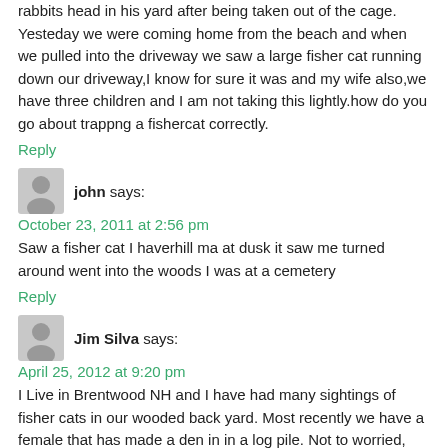rabbits head in his yard after being taken out of the cage. Yesteday we were coming home from the beach and when we pulled into the driveway we saw a large fisher cat running down our driveway,I know for sure it was and my wife also,we have three children and I am not taking this lightly.how do you go about trappng a fishercat correctly.
Reply
john says:
October 23, 2011 at 2:56 pm
Saw a fisher cat I haverhill ma at dusk it saw me turned around went into the woods I was at a cemetery
Reply
Jim Silva says:
April 25, 2012 at 9:20 pm
I Live in Brentwood NH and I have had many sightings of fisher cats in our wooded back yard. Most recently we have a female that has made a den in in a log pile. Not to worried, they have never bothered us before other than the terrible screeching early mornings. I have a large German Shepard but the fisher doest not seam to be bothered by that either. Fisher is spotted by our pool often think it is looking for water. Beutiful crtters, not to worried .